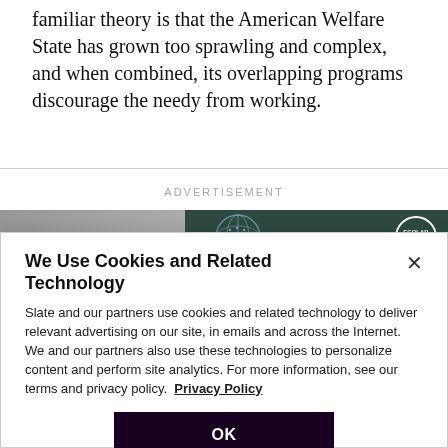familiar theory is that the American Welfare State has grown too sprawling and complex, and when combined, its overlapping programs discourage the needy from working.
ADVERTISEMENT
[Figure (photo): Partial banner advertisement showing a dark teal and gray background with a globe graphic and Ecolab circular logo on the right.]
We Use Cookies and Related Technology
Slate and our partners use cookies and related technology to deliver relevant advertising on our site, in emails and across the Internet. We and our partners also use these technologies to personalize content and perform site analytics. For more information, see our terms and privacy policy. Privacy Policy
OK